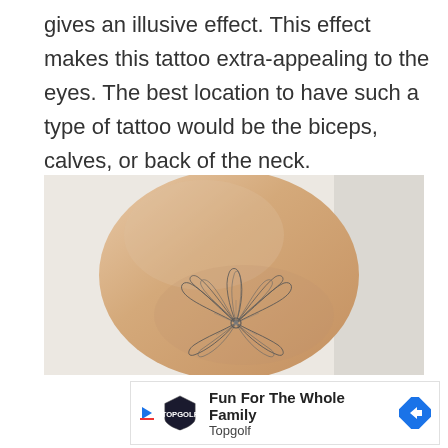gives an illusive effect. This effect makes this tattoo extra-appealing to the eyes. The best location to have such a type of tattoo would be the biceps, calves, or back of the neck.
[Figure (photo): Photo of a person's arm or calf with a fine-line bow/ribbon tattoo drawn in thin black lines, showing a geometric bow shape with multiple loops, on pale skin against a white fabric background.]
Fun For The Whole Family Topgolf